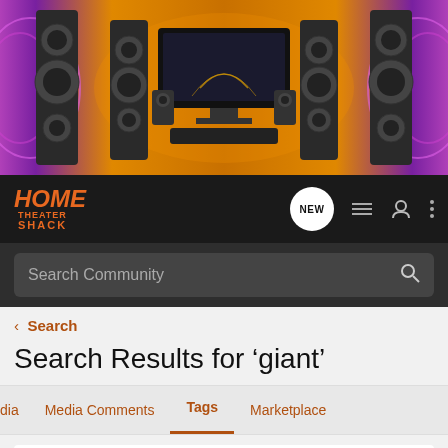[Figure (photo): Home theater banner showing speakers, TV, and audio equipment on orange/purple background]
[Figure (logo): Home Theater Shack logo in orange italic text on dark background]
Search Community
< Search
Search Results for ‘giant’
dia  Media Comments  Tags  Marketplace
Search Tags
× giant